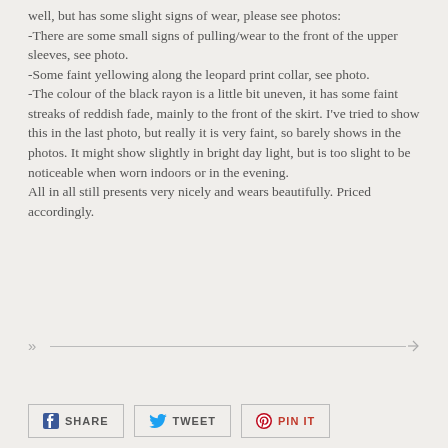well, but has some slight signs of wear, please see photos:
-There are some small signs of pulling/wear to the front of the upper sleeves, see photo.
-Some faint yellowing along the leopard print collar, see photo.
-The colour of the black rayon is a little bit uneven, it has some faint streaks of reddish fade, mainly to the front of the skirt. I've tried to show this in the last photo, but really it is very faint, so barely shows in the photos. It might show slightly in bright day light, but is too slight to be noticeable when worn indoors or in the evening.
All in all still presents very nicely and wears beautifully. Priced accordingly.
[Figure (other): A horizontal decorative arrow divider — double chevron on left, long line, arrowhead on right]
[Figure (other): Social sharing buttons: Facebook SHARE, Twitter TWEET, Pinterest PIN IT]